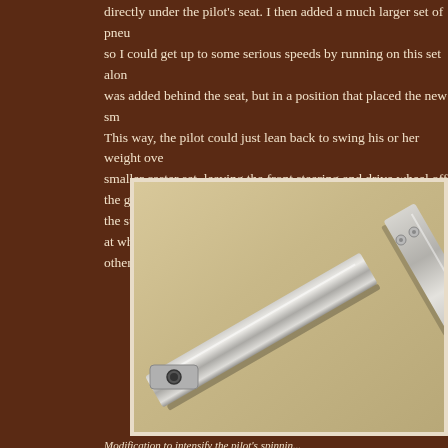directly under the pilot's seat. I then added a much larger set of pneu... so I could get up to some serious speeds by running on this set alon... was added behind the seat, but in a position that placed the new sm... This way, the pilot could just lean back to swing his or her weight ove... smaller caster set, leaving the front steering and drive wheel off the g... the start of a spin, the vehicle would be able to spin continually at wh... other words, prepare to toss your lunch!
[Figure (photo): Close-up photograph of a metal bracket or bar component — an L-shaped or angled steel bar lying on a wooden surface. The metal piece has a square cross-section tube with a mounting hole at one end and appears to be a welded or bent steel frame component.]
Modification to intensify the pilot's spinnin...